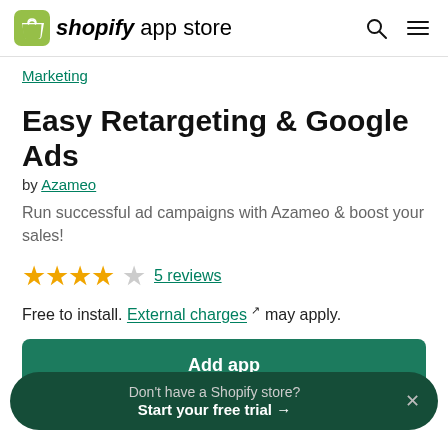Shopify app store
Marketing
Easy Retargeting & Google Ads
by Azameo
Run successful ad campaigns with Azameo & boost your sales!
4 out of 5 stars — 5 reviews
Free to install. External charges may apply.
Add app
Don't have a Shopify store? Start your free trial →